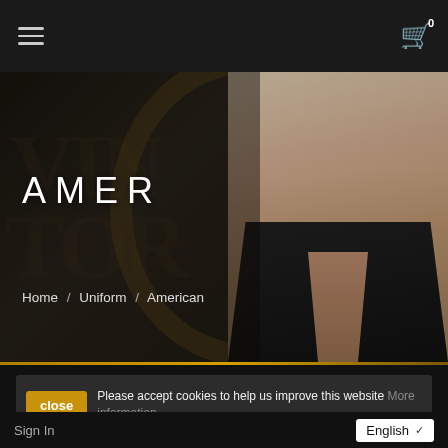Navigation bar with hamburger menu and shopping cart icon with badge 0
[Figure (photo): Hero banner image showing a man in a black leather vest against a dark background with a circular decorative element. Text overlay reads AMER (truncated). Breadcrumb: Home / Uniform / American]
AMER
Home / Uniform / American
Please accept cookies to help us improve this website More information
Sign In
English